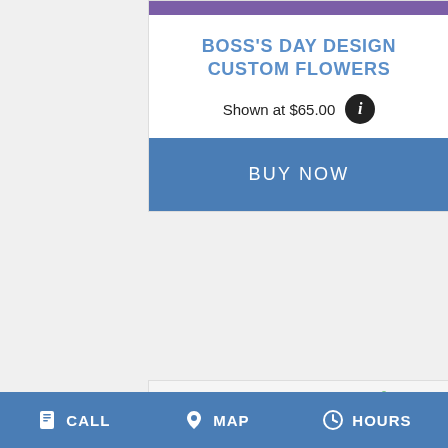[Figure (screenshot): Purple banner strip at top of product card]
BOSS'S DAY DESIGN CUSTOM FLOWERS
Shown at $65.00
BUY NOW
[Figure (photo): Colorful flower bouquet with orange roses, white lilies, purple chrysanthemums, yellow flowers, and pink gerbera daisies]
CALL   MAP   HOURS